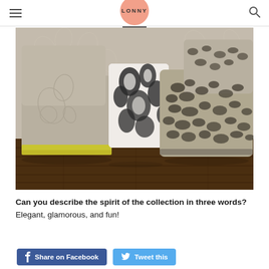LONNY
[Figure (photo): Multiple upholstered chairs and ottomans displayed together on a dark hardwood floor against a floral wallpaper background. The chairs feature different fabric patterns including a floral design in gray/taupe, a black and white graphic pattern, and a leopard/animal print. Some pieces have a yellow/chartreuse trim accent at the base.]
Can you describe the spirit of the collection in three words?
Elegant, glamorous, and fun!
Share on Facebook
Tweet this